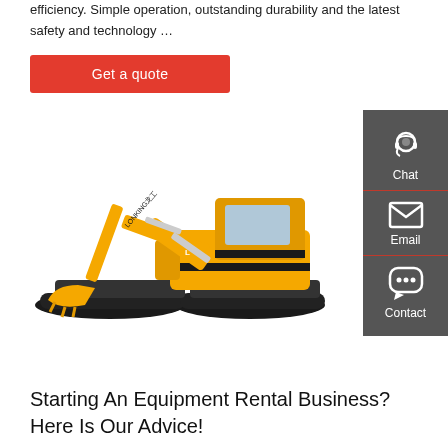efficiency. Simple operation, outstanding durability and the latest safety and technology …
Get a quote
[Figure (photo): Yellow Lonking brand crawler excavator on white background]
[Figure (infographic): Side panel with Chat, Email, and Contact icons on dark grey background]
Starting An Equipment Rental Business? Here Is Our Advice!